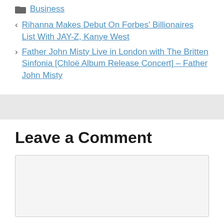Business
Rihanna Makes Debut On Forbes' Billionaires List With JAY-Z, Kanye West
Father John Misty Live in London with The Britten Sinfonia [Chloë Album Release Concert] – Father John Misty
Leave a Comment